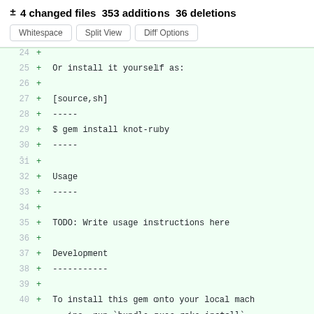± 4 changed files 353 additions 36 deletions
Whitespace | Split View | Diff Options
24  +
25  + Or install it yourself as:
26  +
27  + [source,sh]
28  + -----
29  + $ gem install knot-ruby
30  + -----
31  +
32  + Usage
33  + -----
34  +
35  + TODO: Write usage instructions here
36  +
37  + Development
38  + -----------
39  +
40  + To install this gem onto your local machine, run `bundle exec rake install`.
41  + To release a new version, update the ver